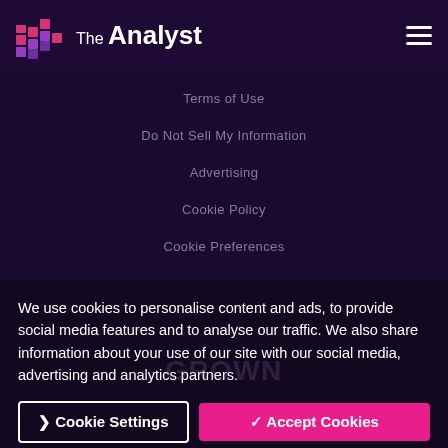The Analyst
Terms of Use
Do Not Sell My Information
Advertising
Cookie Policy
Cookie Preferences
We use cookies to personalise content and ads, to provide social media features and to analyse our traffic. We also share information about your use of our site with our social media, advertising and analytics partners.
Cookie Settings
✓ Accept Cookies